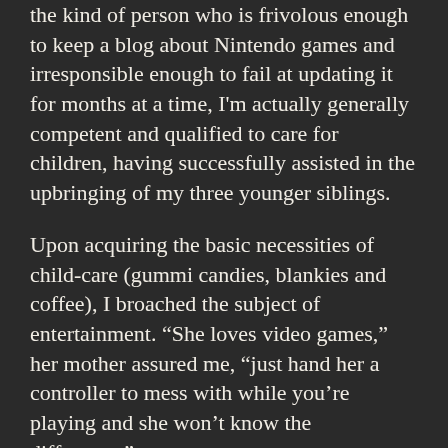the kind of person who is frivolous enough to keep a blog about Nintendo games and irresponsible enough to fail at updating it for months at a time, I'm actually generally competent and qualified to care for children, having successfully assisted in the upbringing of my three younger siblings.
Upon acquiring the basic necessities of child-care (gummi candies, blankies and coffee), I broached the subject of entertainment. “She loves video games,” her mother assured me, “just hand her a controller to mess with while you’re playing and she won’t know the difference.”
If there’s one thing I’ve learned, it’s that